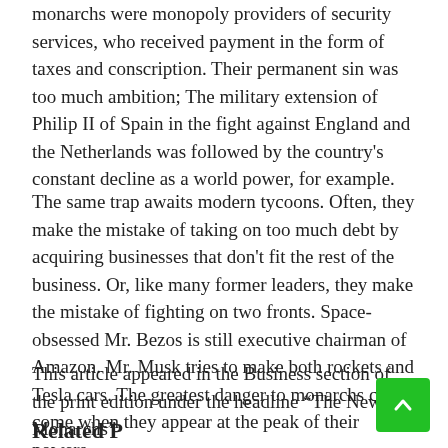monarchs were monopoly providers of security services, who received payment in the form of taxes and conscription. Their permanent sin was too much ambition; The military extension of Philip II of Spain in the fight against England and the Netherlands was followed by the country's constant decline as a world power, for example.
The same trap awaits modern tycoons. Often, they make the mistake of taking on too much debt by acquiring businesses that don't fit the rest of the business. Or, like many former leaders, they make the mistake of fighting on two fronts. Space-obsessed Mr. Bezos is still executive chairman of Amazon. Mr. Musk tries to make both rockets and Tesla cars. The greatest danger to monarchs can come when they appear at the peak of their powers.
This article appeared in the Business section of the print edition under the headline “The New Monarchs”
Related Posts